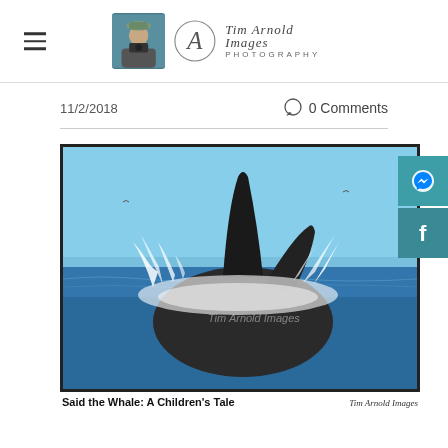Tim Arnold Images Photography — navigation header with logo
11/2/2018
0 Comments
[Figure (photo): A humpback whale breaching dramatically out of the ocean water, creating large splashes. Watermark text visible on image. Black border frame around photo.]
Said the Whale: A Children's Tale